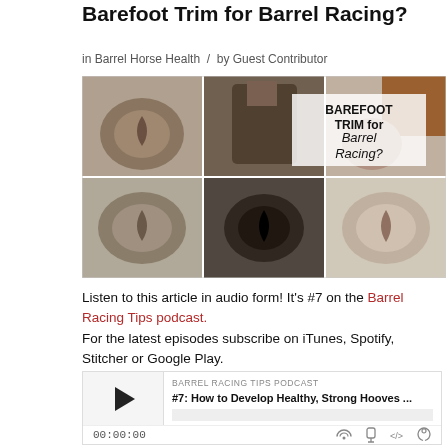Barefoot Trim for Barrel Racing?
in Barrel Horse Health / by Guest Contributor
[Figure (photo): Collage of 6 horse hoof photos arranged in a 3x2 grid with text overlay reading 'BAREFOOT TRIM for Barrel Racing?']
Listen to this article in audio form! It’s #7 on the Barrel Racing Tips podcast.
For the latest episodes subscribe on iTunes, Spotify, Stitcher or Google Play.
[Figure (other): Embedded podcast player for Barrel Racing Tips Podcast episode #7: How to Develop Healthy, Strong Hooves...]